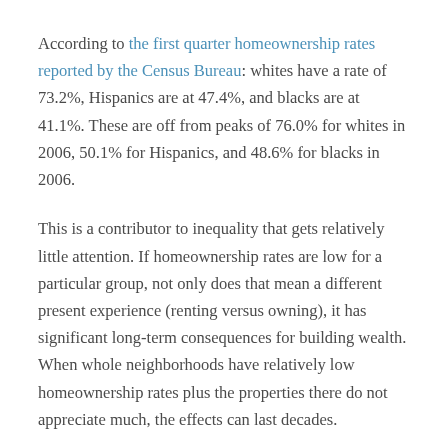According to the first quarter homeownership rates reported by the Census Bureau: whites have a rate of 73.2%, Hispanics are at 47.4%, and blacks are at 41.1%. These are off from peaks of 76.0% for whites in 2006, 50.1% for Hispanics, and 48.6% for blacks in 2006.
This is a contributor to inequality that gets relatively little attention. If homeownership rates are low for a particular group, not only does that mean a different present experience (renting versus owning), it has significant long-term consequences for building wealth. When whole neighborhoods have relatively low homeownership rates plus the properties there do not appreciate much, the effects can last decades.
Where are the 2020 presidential candidates in discussing